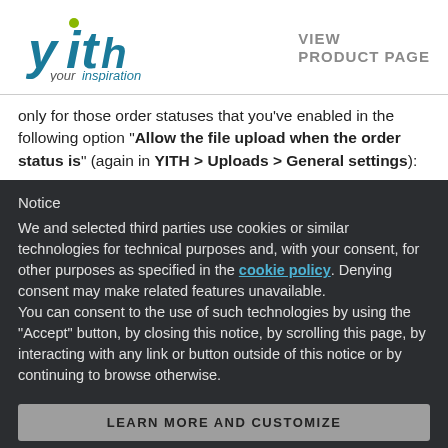[Figure (logo): YITH logo with 'your inspiration' tagline in teal/green]
VIEW
PRODUCT PAGE
only for those order statuses that you’ve enabled in the following option “Allow the file upload when the order status is” (again in YITH > Uploads > General settings):
Notice
We and selected third parties use cookies or similar technologies for technical purposes and, with your consent, for other purposes as specified in the cookie policy. Denying consent may make related features unavailable.
You can consent to the use of such technologies by using the “Accept” button, by closing this notice, by scrolling this page, by interacting with any link or button outside of this notice or by continuing to browse otherwise.
LEARN MORE AND CUSTOMIZE
ACCEPT